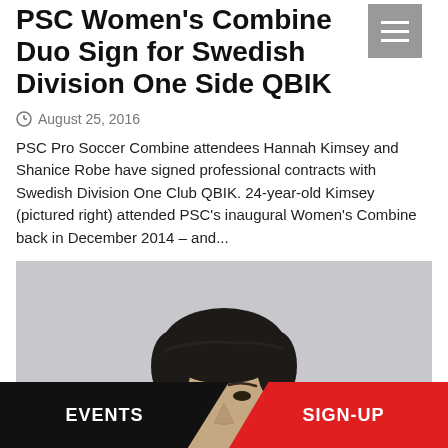PSC Women's Combine Duo Sign for Swedish Division One Side QBIK
August 25, 2016
PSC Pro Soccer Combine attendees Hannah Kimsey and Shanice Robe have signed professional contracts with Swedish Division One Club QBIK. 24-year-old Kimsey (pictured right) attended PSC's inaugural Women's Combine back in December 2014 – and...
[Figure (photo): Portrait photo of a person with dark hair against a light gray background, showing head and top of shoulders.]
EVENTS   SIGN-UP